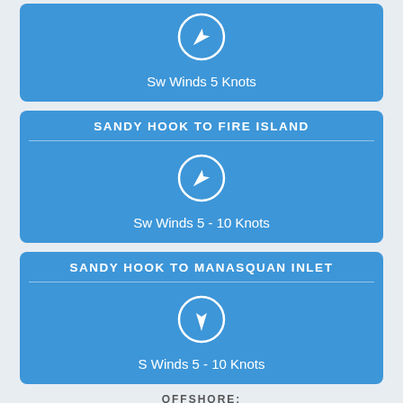[Figure (infographic): Wind direction icon (SW arrow) with label: Sw Winds 5 Knots]
Sw Winds 5 Knots
SANDY HOOK TO FIRE ISLAND
[Figure (infographic): Wind direction icon (SW arrow) with label: Sw Winds 5 - 10 Knots]
Sw Winds 5 - 10 Knots
SANDY HOOK TO MANASQUAN INLET
[Figure (infographic): Wind direction icon (S arrow) with label: S Winds 5 - 10 Knots]
S Winds 5 - 10 Knots
OFFSHORE:
SOUTH OF LONG ISLAND
[Figure (infographic): Wind direction icon (S arrow) with label: S Winds 5 - 10 Knots]
S Winds 5 - 10 Knots